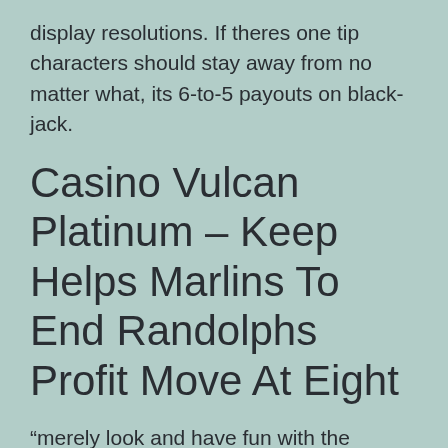display resolutions. If theres one tip characters should stay away from no matter what, its 6-to-5 payouts on black-jack.
Casino Vulcan Platinum – Keep Helps Marlins To End Randolphs Profit Move At Eight
“merely look and have fun with the appropriate games, that is,, fundamental system,” states Scoblete. Typically go firing on all cylinders if you should only arrived at the dinner table.